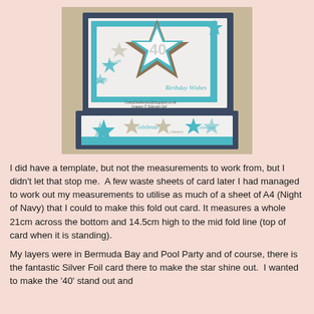[Figure (photo): Photo of a handmade fold-out birthday card with teal/bermuda bay star decorations, silver foil star, brown star layers, '40' embellishment, and 'Birthday Wishes' text. Card is shown standing and also showing the bottom strip with stars and 'celebrate' text.]
I did have a template, but not the measurements to work from, but I didn't let that stop me.  A few waste sheets of card later I had managed to work out my measurements to utilise as much of a sheet of A4 (Night of Navy) that I could to make this fold out card. It measures a whole 21cm across the bottom and 14.5cm high to the mid fold line (top of card when it is standing).
My layers were in Bermuda Bay and Pool Party and of course, there is the fantastic Silver Foil card there to make the star shine out.  I wanted to make the '40' stand out and